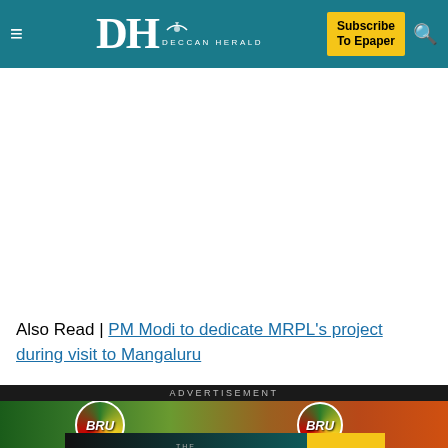DH DECCAN HERALD | Subscribe To Epaper
Also Read | PM Modi to dedicate MRPL’s project during visit to Mangaluru
[Figure (photo): BRU coffee advertisement banner with BRU product tins on a green and brown background]
[Figure (other): THE PERSPECTIVE - SEE WHAT YOU’RE MISSING advertisement with READ MORE button]